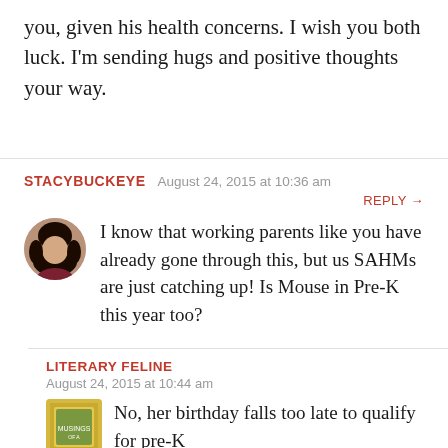you, given his health concerns. I wish you both luck. I'm sending hugs and positive thoughts your way.
STACYBUCKEYE  August 24, 2015 at 10:36 am
REPLY →
I know that working parents like you have already gone through this, but us SAHMs are just catching up! Is Mouse in Pre-K this year too?
LITERARY FELINE
August 24, 2015 at 10:44 am
No, her birthday falls too late to qualify for pre-K...